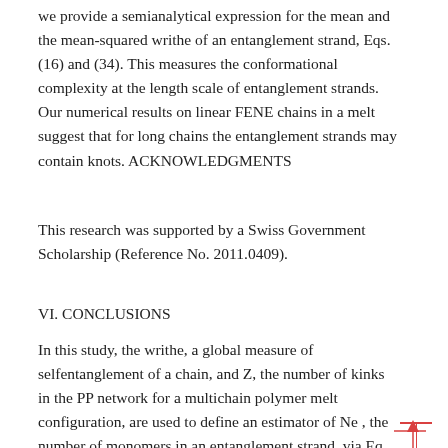we provide a semianalytical expression for the mean and the mean-squared writhe of an entanglement strand, Eqs. (16) and (34). This measures the conformational complexity at the length scale of entanglement strands. Our numerical results on linear FENE chains in a melt suggest that for long chains the entanglement strands may contain knots. ACKNOWLEDGMENTS
This research was supported by a Swiss Government Scholarship (Reference No. 2011.0409).
VI. CONCLUSIONS
In this study, the writhe, a global measure of selfentanglement of a chain, and Z, the number of kinks in the PP network for a multichain polymer melt configuration, are used to define an estimator of Ne , the number of monomers in an entanglement strand, via Eq. (24). An advantage of this estimator is that it is valid for both open and closed chains in any PBC model. Moreover, it does not depend directly on the exact locations where